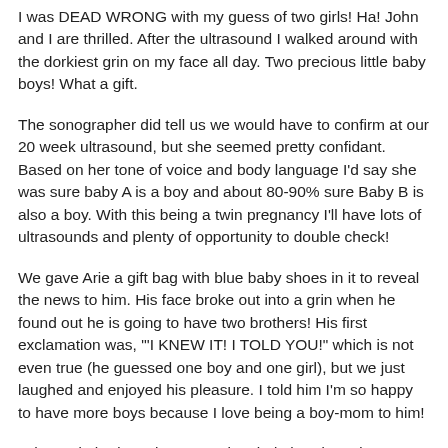I was DEAD WRONG with my guess of two girls! Ha! John and I are thrilled. After the ultrasound I walked around with the dorkiest grin on my face all day. Two precious little baby boys! What a gift.
The sonographer did tell us we would have to confirm at our 20 week ultrasound, but she seemed pretty confidant. Based on her tone of voice and body language I'd say she was sure baby A is a boy and about 80-90% sure Baby B is also a boy. With this being a twin pregnancy I'll have lots of ultrasounds and plenty of opportunity to double check!
We gave Arie a gift bag with blue baby shoes in it to reveal the news to him. His face broke out into a grin when he found out he is going to have two brothers! His first exclamation was, "I KNEW IT! I TOLD YOU!" which is not even true (he guessed one boy and one girl), but we just laughed and enjoyed his pleasure. I told him I'm so happy to have more boys because I love being a boy-mom to him!
John and I had one boy name in mind already and we are having fun talking about a second name, plus middle names.